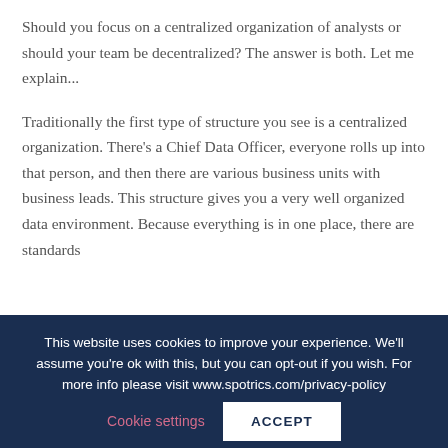Should you focus on a centralized organization of analysts or should your team be decentralized? The answer is both. Let me explain...
Traditionally the first type of structure you see is a centralized organization. There's a Chief Data Officer, everyone rolls up into that person, and then there are various business units with business leads. This structure gives you a very well organized data environment. Because everything is in one place, there are standards
This website uses cookies to improve your experience. We'll assume you're ok with this, but you can opt-out if you wish. For more info please visit www.spotrics.com/privacy-policy
Cookie settings
ACCEPT